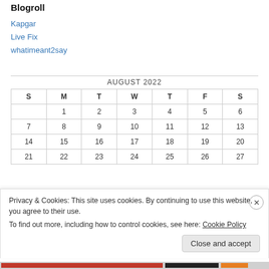Blogroll
Kapgar
Live Fix
whatimeant2say
| S | M | T | W | T | F | S |
| --- | --- | --- | --- | --- | --- | --- |
|  | 1 | 2 | 3 | 4 | 5 | 6 |
| 7 | 8 | 9 | 10 | 11 | 12 | 13 |
| 14 | 15 | 16 | 17 | 18 | 19 | 20 |
| 21 | 22 | 23 | 24 | 25 | 26 | 27 |
AUGUST 2022
Privacy & Cookies: This site uses cookies. By continuing to use this website, you agree to their use. To find out more, including how to control cookies, see here: Cookie Policy